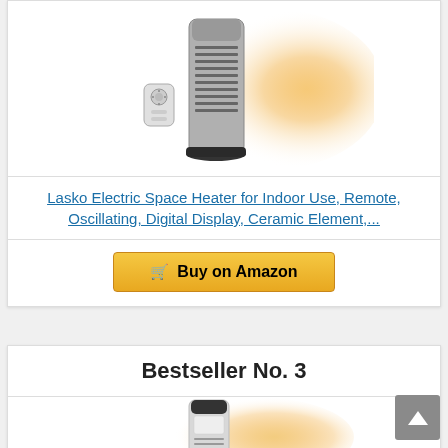[Figure (photo): Lasko tower space heater in silver/black with remote control, emitting warm orange light glow]
Lasko Electric Space Heater for Indoor Use, Remote, Oscillating, Digital Display, Ceramic Element,...
Buy on Amazon
Bestseller No. 3
[Figure (photo): Space heater product image at bottom of page, white and black tower heater with orange glow]